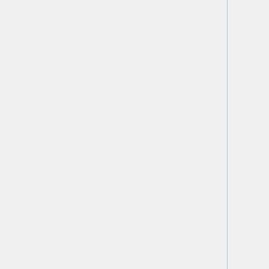| Parameter | Value/Description |
| --- | --- |
|  | explicitly, not 'Latin 1' p... some programming lang... libraries. |
| DisplayLevel | <integer> |
| Font | <string>

Specify the font to be us... display of the module if ... available. Omit this line... default font. Do not mak... font-specific encodings... documents, but use Uni... and the Private Use Are... necessary for codepoint... not handled by Unicode |
|  | true/false

When set to false indica... OSIS quote elements w... marker attribute are not... a quotation mark. This is |